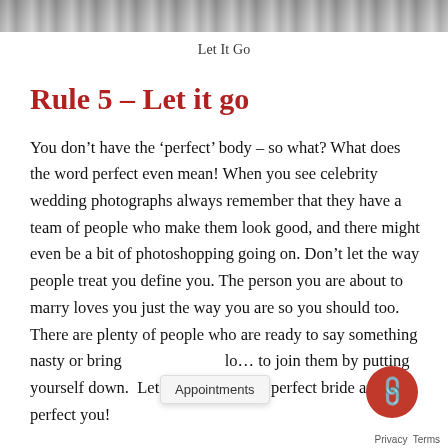[Figure (photo): Decorative image strip at top of page, showing a blurred/textured background image]
Let It Go
Rule 5 – Let it go
You don't have the 'perfect' body – so what? What does the word perfect even mean! When you see celebrity wedding photographs always remember that they have a team of people who make them look good, and there might even be a bit of photoshopping going on. Don't let the way people treat you define you. The person you are about to marry loves you just the way you are so you should too. There are plenty of people who are ready to say something nasty or bring [Appointments] la... to join them by putting yourself down. Let it go – yo... the perfect bride and the perfect you!